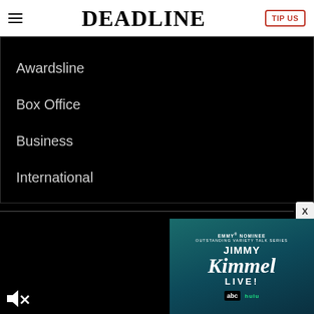DEADLINE
Awardsline
Box Office
Business
International
[Figure (screenshot): Jimmy Kimmel Live advertisement banner: EMMY NOMINEE OUTSTANDING VARIETY TALK SERIES, Jimmy Kimmel LIVE!, ABC and Hulu logos on teal gradient background]